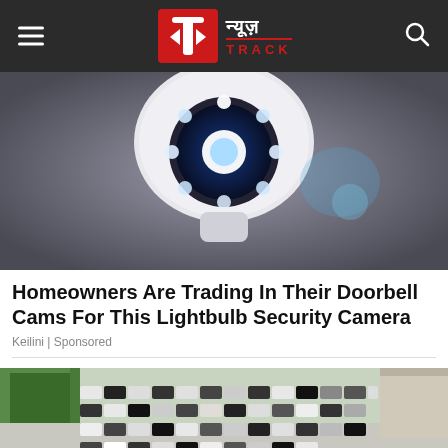न्यूज़ TRACK
[Figure (photo): White dome security/lightbulb camera with blue glowing LED ring in center, mounted on ceiling, dark background]
Homeowners Are Trading In Their Doorbell Cams For This Lightbulb Security Camera
Keilini | Sponsored
[Figure (photo): Aerial view of a large parking lot filled with many cars, with green trees on left side and a building on right; two people walking in the lot]